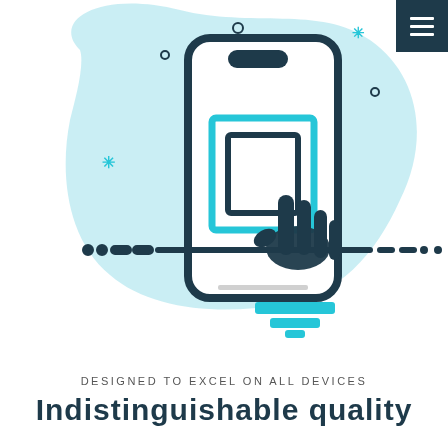[Figure (illustration): Flat style illustration of a smartphone with a hand pointer/cursor icon tapping the screen, with nested square brackets on the screen indicating touch interaction. A teal/light blue organic blob shape forms the background. Decorative dots, asterisks, and circles are scattered around. A dark teal hamburger menu button is in the top right corner. A horizontal dashed-dotted line runs across the illustration, and teal rectangles at the bottom suggest a desktop stand or table.]
DESIGNED TO EXCEL ON ALL DEVICES
Indistinguishable quality